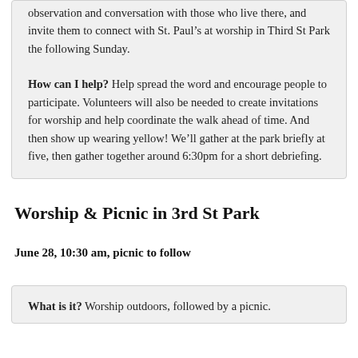observation and conversation with those who live there, and invite them to connect with St. Paul's at worship in Third St Park the following Sunday.
How can I help? Help spread the word and encourage people to participate. Volunteers will also be needed to create invitations for worship and help coordinate the walk ahead of time. And then show up wearing yellow! We'll gather at the park briefly at five, then gather together around 6:30pm for a short debriefing.
Worship & Picnic in 3rd St Park
June 28, 10:30 am, picnic to follow
What is it? Worship outdoors, followed by a picnic.